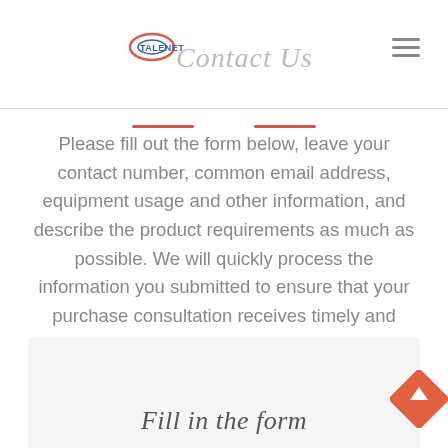TALENET Contact Us
Please fill out the form below, leave your contact number, common email address, equipment usage and other information, and describe the product requirements as much as possible. We will quickly process the information you submitted to ensure that your purchase consultation receives timely and accurate response.
Fill in the form